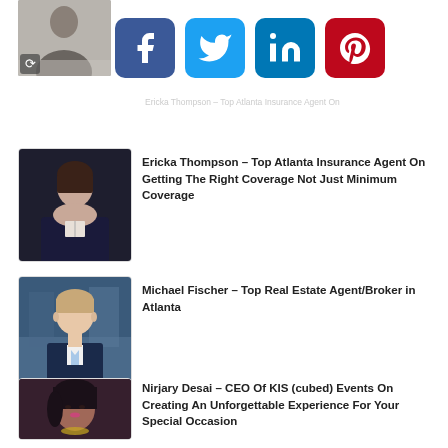[Figure (photo): Partially visible photo of a person at top left]
[Figure (infographic): Social media icon buttons: Facebook (blue), Twitter (light blue), LinkedIn (dark blue), Pinterest (red)]
[Figure (photo): Photo of Ericka Thompson, woman in dark jacket]
Ericka Thompson – Top Atlanta Insurance Agent On Getting The Right Coverage Not Just Minimum Coverage
[Figure (photo): Photo of Michael Fischer, man in suit with light blue tie]
Michael Fischer – Top Real Estate Agent/Broker in Atlanta
[Figure (photo): Photo of Nirjary Desai, woman with dark hair and colorful necklace]
Nirjary Desai – CEO Of KIS (cubed) Events On Creating An Unforgettable Experience For Your Special Occasion